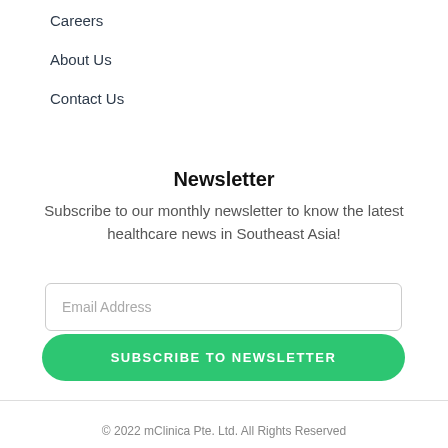Careers
About Us
Contact Us
Newsletter
Subscribe to our monthly newsletter to know the latest healthcare news in Southeast Asia!
Email Address
SUBSCRIBE TO NEWSLETTER
© 2022 mClinica Pte. Ltd. All Rights Reserved